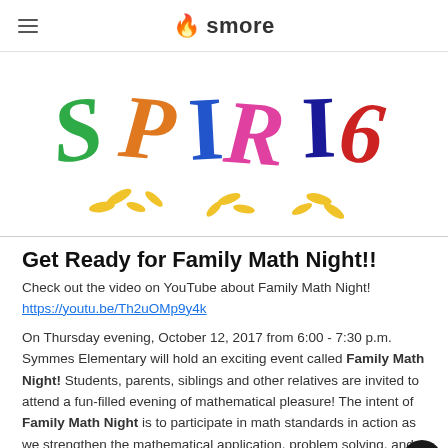smore
[Figure (illustration): Colorful hand-drawn text spelling 'SPIRIT' in bright letters (green, orange, blue, pink, dark blue, red) with decorative sun-ray dashes below, on white background]
Get Ready for Family Math Night!!
Check out the video on YouTube about Family Math Night!
https://youtu.be/Th2uOMp9y4k
On Thursday evening, October 12, 2017 from 6:00 - 7:30 p.m. Symmes Elementary will hold an exciting event called Family Math Night! Students, parents, siblings and other relatives are invited to attend a fun-filled evening of mathematical pleasure! The intent of Family Math Night is to participate in math standards in action as we strengthen the mathematical application, problem solving, and communication skills of